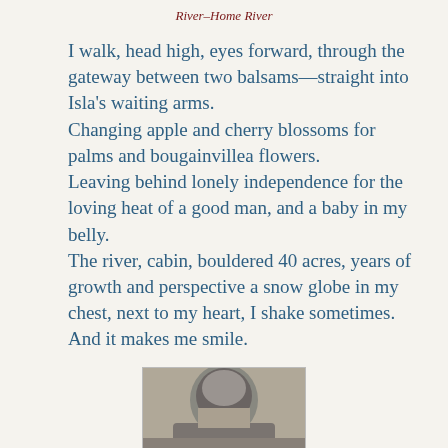River–Home River
I walk, head high, eyes forward, through the gateway between two balsams—straight into Isla's waiting arms.
Changing apple and cherry blossoms for palms and bougainvillea flowers.
Leaving behind lonely independence for the loving heat of a good man, and a baby in my belly.
The river, cabin, bouldered 40 acres, years of growth and perspective a snow globe in my chest, next to my heart, I shake sometimes.
And it makes me smile.
[Figure (photo): Black and white photograph of a person, partially visible, close-up portrait style.]